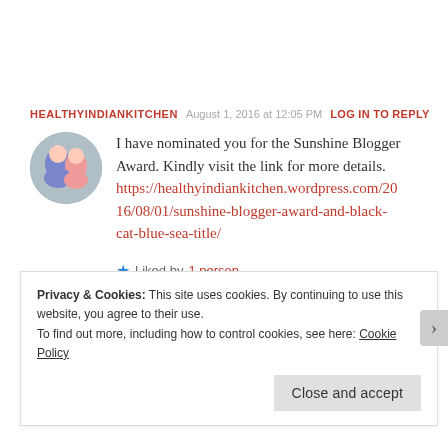HEALTHYINDIANKITCHEN   August 1, 2016 at 12:05 PM   LOG IN TO REPLY
I have nominated you for the Sunshine Blogger Award. Kindly visit the link for more details. https://healthyindiankitchen.wordpress.com/2016/08/01/sunshine-blogger-award-and-black-cat-blue-sea-title/
★ Liked by 1 person
Privacy & Cookies: This site uses cookies. By continuing to use this website, you agree to their use. To find out more, including how to control cookies, see here: Cookie Policy
Close and accept